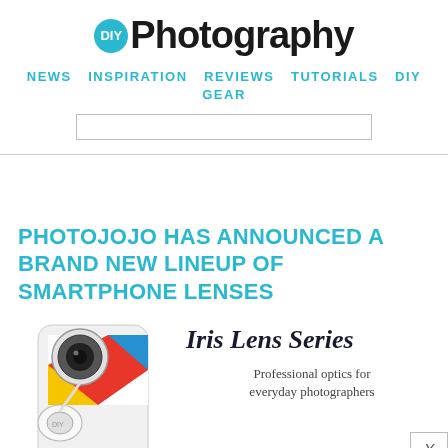DIY Photography
NEWS  INSPIRATION  REVIEWS  TUTORIALS  DIY  GEAR
PHOTOJOJO HAS ANNOUNCED A BRAND NEW LINEUP OF SMARTPHONE LENSES
[Figure (photo): Smartphone with colorful case and detachable lens accessories including wide angle and fisheye lenses]
[Figure (infographic): Iris Lens Series advertisement panel with text: Professional optics for everyday photographers]